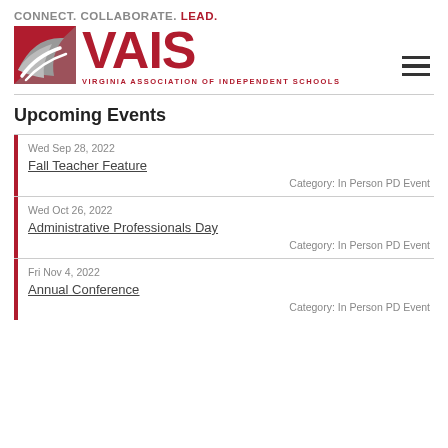[Figure (logo): VAIS logo with tagline CONNECT. COLLABORATE. LEAD. and Virginia Association of Independent Schools text]
Upcoming Events
Wed Sep 28, 2022 | Fall Teacher Feature | Category: In Person PD Event
Wed Oct 26, 2022 | Administrative Professionals Day | Category: In Person PD Event
Fri Nov 4, 2022 | Annual Conference | Category: In Person PD Event